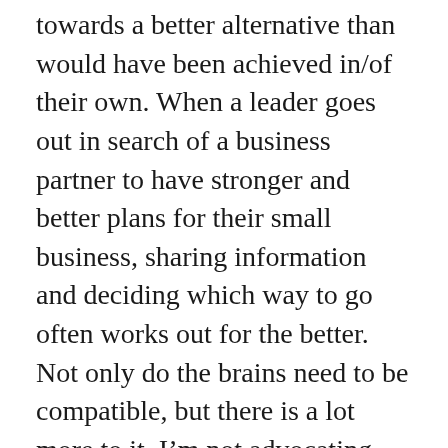towards a better alternative than would have been achieved in/of their own. When a leader goes out in search of a business partner to have stronger and better plans for their small business, sharing information and deciding which way to go often works out for the better. Not only do the brains need to be compatible, but there is a lot more to it. I’m not advocating that leaders with similar brains should align, but often times leaders with differing thoughts can for even greater alignment/future direction. Out of everything else the two partners should be able to drive the business in the best manner together forward.